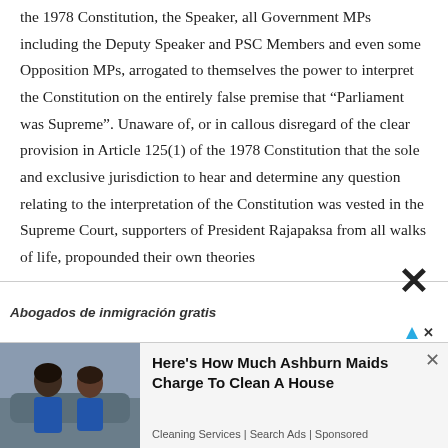the 1978 Constitution, the Speaker, all Government MPs including the Deputy Speaker and PSC Members and even some Opposition MPs, arrogated to themselves the power to interpret the Constitution on the entirely false premise that “Parliament was Supreme”. Unaware of, or in callous disregard of the clear provision in Article 125(1) of the 1978 Constitution that the sole and exclusive jurisdiction to hear and determine any question relating to the interpretation of the Constitution was vested in the Supreme Court, supporters of President Rajapaksa from all walks of life, propounded their own theories
[Figure (other): Advertisement overlay with decorative X close button and ad attribution icon bar]
[Figure (other): Web advertisement banner: 'Here's How Much Ashburn Maids Charge To Clean A House' - Cleaning Services | Search Ads | Sponsored, with photo of two women in uniforms beside a vehicle]